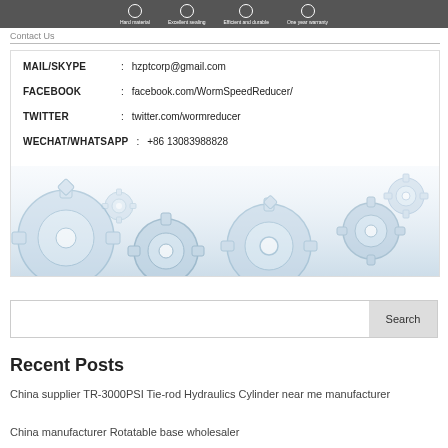[Figure (infographic): Top banner with company icons: Hard material, Excellent sealing, Efficient and durable, One year warranty]
Contact Us
[Figure (infographic): Contact information card with gear/cog background image showing MAIL/SKYPE, FACEBOOK, TWITTER, WECHAT/WHATSAPP details]
MAIL/SKYPE : hzptcorp@gmail.com
FACEBOOK : facebook.com/WormSpeedReducer/
TWITTER : twitter.com/wormreducer
WECHAT/WHATSAPP : +86 13083988828
Search
Recent Posts
China supplier TR-3000PSI Tie-rod Hydraulics Cylinder near me manufacturer
China manufacturer Rotatable base wholesaler